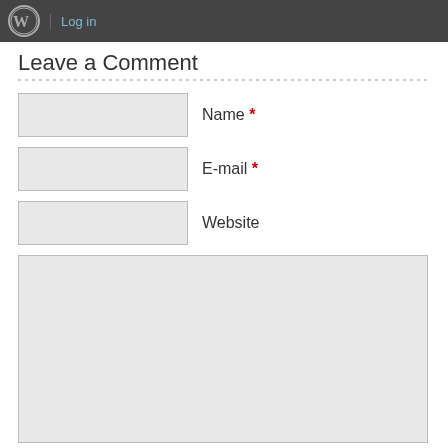Log in
Leave a Comment
Name *
E-mail *
Website
Notify me of followup comments via e-mail
Submit